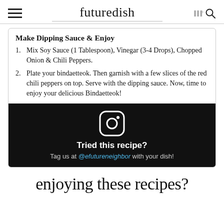futuredish
Make Dipping Sauce & Enjoy
Mix Soy Sauce (1 Tablespoon), Vinegar (3-4 Drops), Chopped Onion & Chili Peppers.
Plate your bindaetteok. Then garnish with a few slices of the red chili peppers on top. Serve with the dipping sauce. Now, time to enjoy your delicious Bindaetteok!
[Figure (infographic): Black Instagram call-to-action box with Instagram logo icon, text 'Tried this recipe?' and 'Tag us at @efutureneighbor with your dish!']
enjoying these recipes?